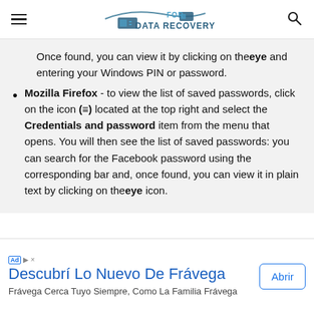FOR DATA RECOVERY
Once found, you can view it by clicking on the eye and entering your Windows PIN or password.
Mozilla Firefox - to view the list of saved passwords, click on the icon (≡) located at the top right and select the Credentials and password item from the menu that opens. You will then see the list of saved passwords: you can search for the Facebook password using the corresponding bar and, once found, you can view it in plain text by clicking on the eye icon.
Descubrí Lo Nuevo De Frávega
Frávega Cerca Tuyo Siempre, Como La Familia Frávega